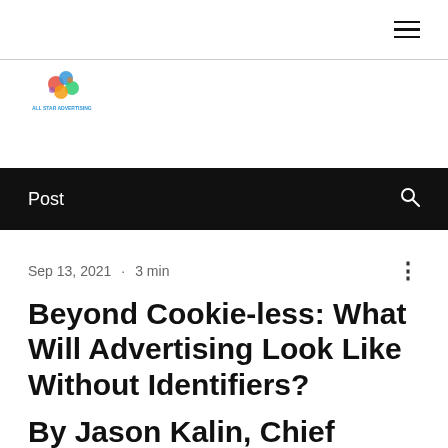☰
[Figure (logo): Colorful logo with puzzle-piece style graphics and text reading 'All Star Advertising']
Post
Sep 13, 2021  ·  3 min
Beyond Cookie-less: What Will Advertising Look Like Without Identifiers?
By Jason Kalin, Chief